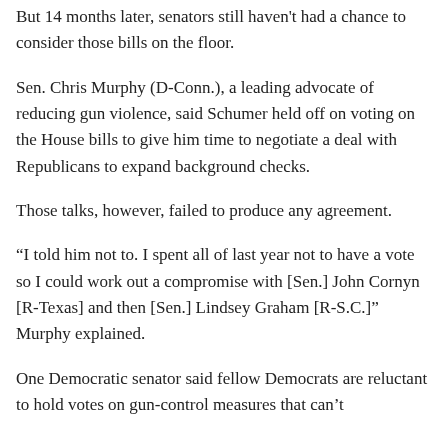But 14 months later, senators still haven't had a chance to consider those bills on the floor.
Sen. Chris Murphy (D-Conn.), a leading advocate of reducing gun violence, said Schumer held off on voting on the House bills to give him time to negotiate a deal with Republicans to expand background checks.
Those talks, however, failed to produce any agreement.
“I told him not to. I spent all of last year not to have a vote so I could work out a compromise with [Sen.] John Cornyn [R-Texas] and then [Sen.] Lindsey Graham [R-S.C.]” Murphy explained.
One Democratic senator said fellow Democrats are reluctant to hold votes on gun-control measures that can’t overcome a 60-vote threshold — a filibuster — because it could